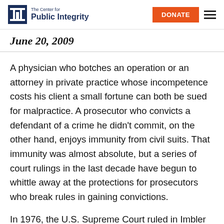The Center for Public Integrity | DONATE
June 20, 2009
A physician who botches an operation or an attorney in private practice whose incompetence costs his client a small fortune can both be sued for malpractice. A prosecutor who convicts a defendant of a crime he didn't commit, on the other hand, enjoys immunity from civil suits. That immunity was almost absolute, but a series of court rulings in the last decade have begun to whittle away at the protections for prosecutors who break rules in gaining convictions.
In 1976, the U.S. Supreme Court ruled in Imbler...